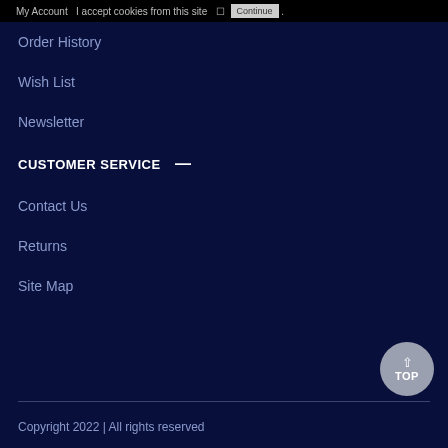My Account   I accept cookies from this site   [checkbox]   [Continue]
Order History
Wish List
Newsletter
CUSTOMER SERVICE —
Contact Us
Returns
Site Map
Copyright 2022 | All rights reserved